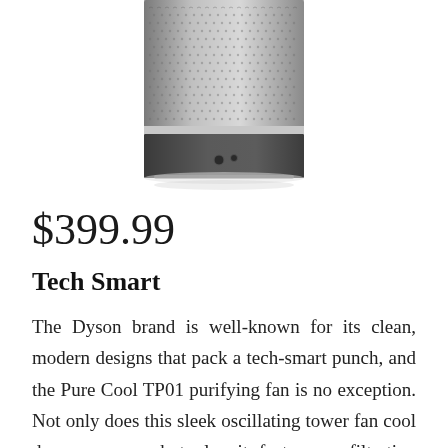[Figure (photo): A cylindrical Dyson air purifier/fan with silver metallic mesh top and dark gray base, photographed on white background, partially cropped at top.]
$399.99
Tech Smart
The Dyson brand is well-known for its clean, modern designs that pack a tech-smart punch, and the Pure Cool TP01 purifying fan is no exception. Not only does this sleek oscillating tower fan cool down a room, but also it features a filtration system with activated